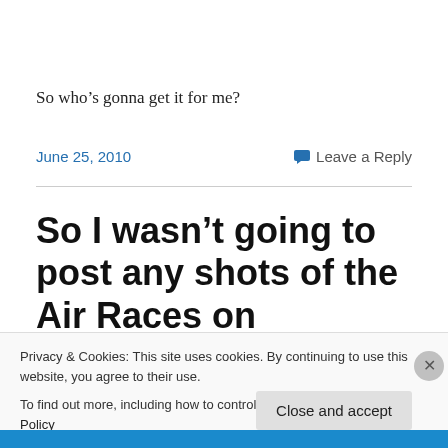So who’s gonna get it for me?
June 25, 2010
Leave a Reply
So I wasn’t going to post any shots of the Air Races on
Privacy & Cookies: This site uses cookies. By continuing to use this website, you agree to their use.
To find out more, including how to control cookies, see here: Cookie Policy
Close and accept